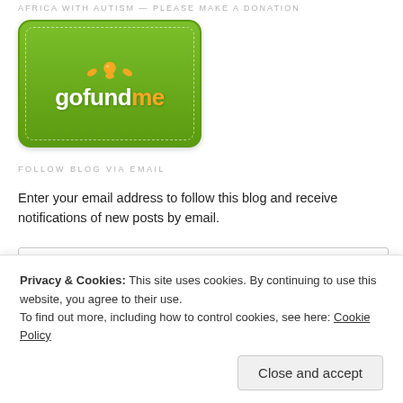AFRICA WITH AUTISM — PLEASE MAKE A DONATION
[Figure (logo): GoFundMe logo on green card-style background with dashed border]
FOLLOW BLOG VIA EMAIL
Enter your email address to follow this blog and receive notifications of new posts by email.
Email Address
Follow
Privacy & Cookies: This site uses cookies. By continuing to use this website, you agree to their use.
To find out more, including how to control cookies, see here: Cookie Policy
Close and accept